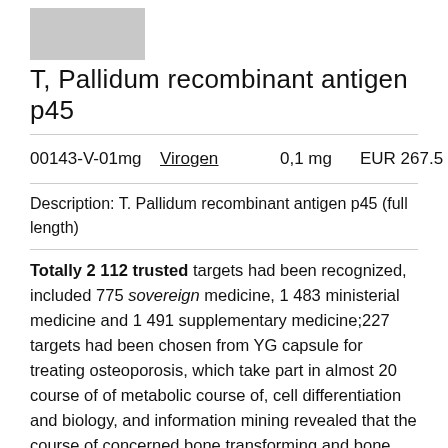[Figure (photo): Gray placeholder image for product]
T, Pallidum recombinant antigen p45
00143-V-01mg   Virogen   0,1 mg   EUR 267.5
Description: T. Pallidum recombinant antigen p45 (full length)
Totally 2 112 trusted targets had been recognized, included 775 sovereign medicine, 1 483 ministerial medicine and 1 491 supplementary medicine;227 targets had been chosen from YG capsule for treating osteoporosis, which take part in almost 20 course of of metabolic course of, cell differentiation and biology, and information mining revealed that the course of concerned bone transforming and bone mineralization. Acting web site of cell primarily inclded 9 sorts of cell which had 13 molecular perform. Results of KEGG metabolic pathway